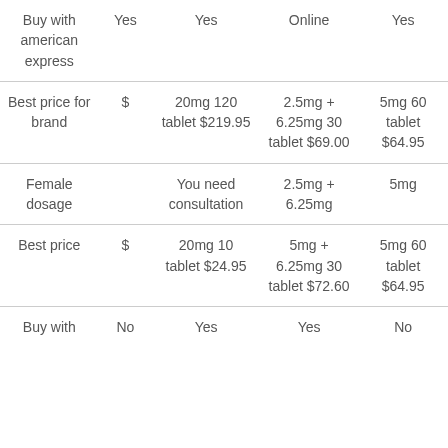| Buy with american express | Yes | Yes | Online | Yes |
| Best price for brand | $ | 20mg 120 tablet $219.95 | 2.5mg + 6.25mg 30 tablet $69.00 | 5mg 60 tablet $64.95 |
| Female dosage |  | You need consultation | 2.5mg + 6.25mg | 5mg |
| Best price | $ | 20mg 10 tablet $24.95 | 5mg + 6.25mg 30 tablet $72.60 | 5mg 60 tablet $64.95 |
| Buy with | No | Yes | Yes | No |